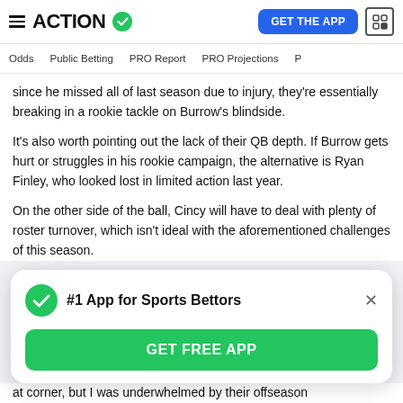ACTION
since he missed all of last season due to injury, they're essentially breaking in a rookie tackle on Burrow's blindside.
It's also worth pointing out the lack of their QB depth. If Burrow gets hurt or struggles in his rookie campaign, the alternative is Ryan Finley, who looked lost in limited action last year.
On the other side of the ball, Cincy will have to deal with plenty of roster turnover, which isn't ideal with the aforementioned challenges of this season.
[Figure (infographic): App promotion modal card with green checkmark icon, title '#1 App for Sports Bettors', close X button, and green 'GET FREE APP' button]
at corner, but I was underwhelmed by their offseason